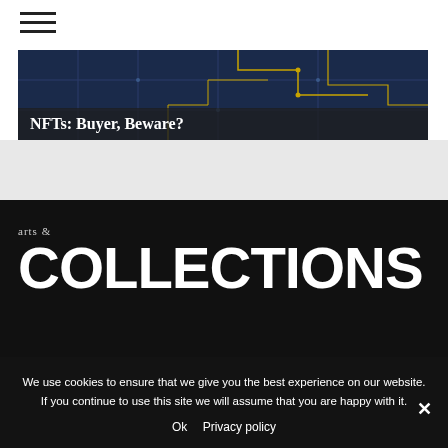[Figure (screenshot): Hamburger menu icon (three horizontal lines) in top-left corner of a website header]
[Figure (photo): Article banner image showing circuit board / tech background with dark blue tones and yellow circuit lines, with title overlay 'NFTs: Buyer, Beware?']
NFTs: Buyer, Beware?
[Figure (logo): Arts & Collections magazine logo on dark background, showing 'arts &' in small text above large bold 'COLLECTIONS' text]
We use cookies to ensure that we give you the best experience on our website. If you continue to use this site we will assume that you are happy with it.
Ok   Privacy policy